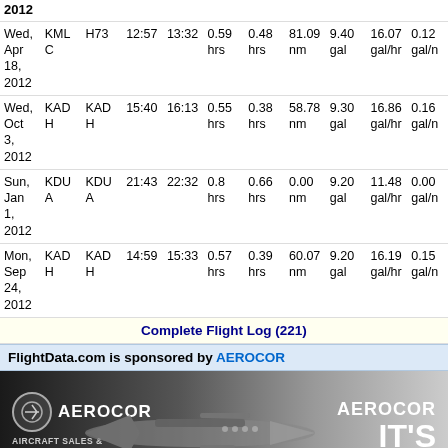| Date | From | To | Dep | Arr | Total | Air | Dist | Fuel | Fuel/hr | Fuel/nm |
| --- | --- | --- | --- | --- | --- | --- | --- | --- | --- | --- |
| Wed, Apr 18, 2012 | KMLC | H73 | 12:57 | 13:32 | 0.59 hrs | 0.48 hrs | 81.09 nm | 9.40 gal | 16.07 gal/hr | 0.12 gal/nm |
| Wed, Oct 3, 2012 | KADH | KADH | 15:40 | 16:13 | 0.55 hrs | 0.38 hrs | 58.78 nm | 9.30 gal | 16.86 gal/hr | 0.16 gal/nm |
| Sun, Jan 1, 2012 | KDUA | KDUA | 21:43 | 22:32 | 0.8 hrs | 0.66 hrs | 0.00 nm | 9.20 gal | 11.48 gal/hr | 0.00 gal/nm |
| Mon, Sep 24, 2012 | KADH | KADH | 14:59 | 15:33 | 0.57 hrs | 0.39 hrs | 60.07 nm | 9.20 gal | 16.19 gal/hr | 0.15 gal/nm |
Complete Flight Log (221)
FlightData.com is sponsored by AEROCOR
[Figure (photo): AEROCOR aircraft sales advertisement banner showing a jet aircraft with AEROCOR branding and IT'S text on dark background]